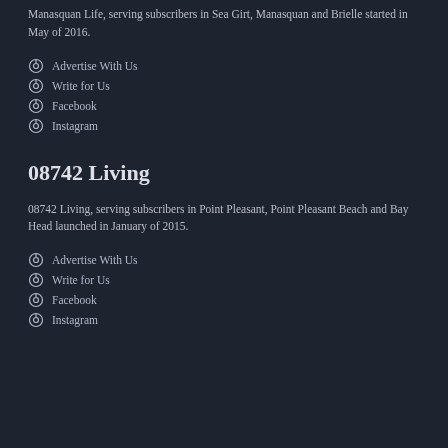Manasquan Life, serving subscribers in Sea Girt, Manasquan and Brielle started in May of 2016.
Advertise With Us
Write for Us
Facebook
Instagram
08742 Living
08742 Living, serving subscribers in Point Pleasant, Point Pleasant Beach and Bay Head launched in January of 2015.
Advertise With Us
Write for Us
Facebook
Instagram